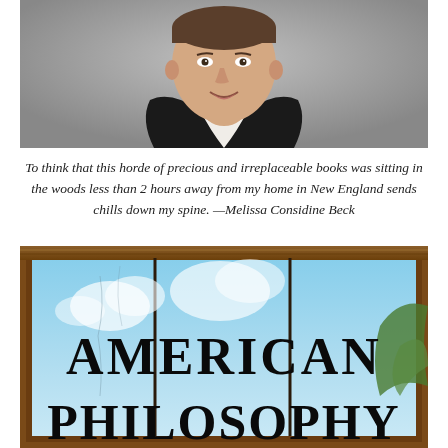[Figure (photo): Headshot of a smiling man in a black blazer and white open-collar shirt against a grey background]
To think that this horde of precious and irreplaceable books was sitting in the woods less than 2 hours away from my home in New England sends chills down my spine. —Melissa Considine Beck
[Figure (photo): Close-up of book spines showing the title 'AMERICAN PHILOSOPHY' in large block letters against a light blue sky background, housed in a wooden shelf]